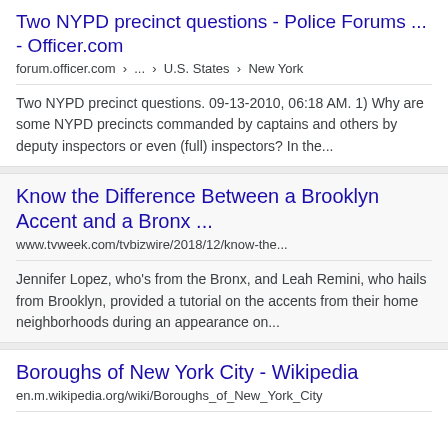Two NYPD precinct questions - Police Forums ... - Officer.com
forum.officer.com › ... › U.S. States › New York
Two NYPD precinct questions. 09-13-2010, 06:18 AM. 1) Why are some NYPD precincts commanded by captains and others by deputy inspectors or even (full) inspectors? In the...
Know the Difference Between a Brooklyn Accent and a Bronx ...
www.tvweek.com/tvbizwire/2018/12/know-the...
Jennifer Lopez, who's from the Bronx, and Leah Remini, who hails from Brooklyn, provided a tutorial on the accents from their home neighborhoods during an appearance on...
Boroughs of New York City - Wikipedia
en.m.wikipedia.org/wiki/Boroughs_of_New_York_City